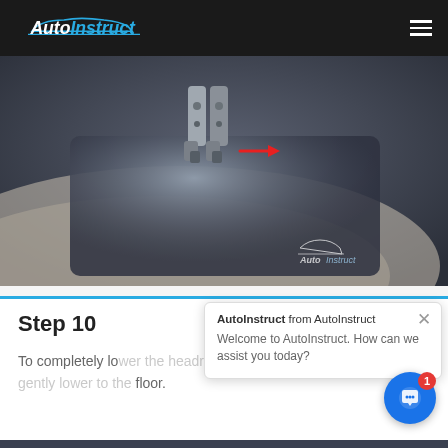AutoInstruct
[Figure (photo): Close-up photo of automotive headrest release clips/tabs mechanism with a red arrow pointing right, AutoInstruct watermark in lower right corner]
Step 10
To completely lower the headrest, push the release tabs and gently lower to the floor.
AutoInstruct from AutoInstruct
Welcome to AutoInstruct. How can we assist you today?